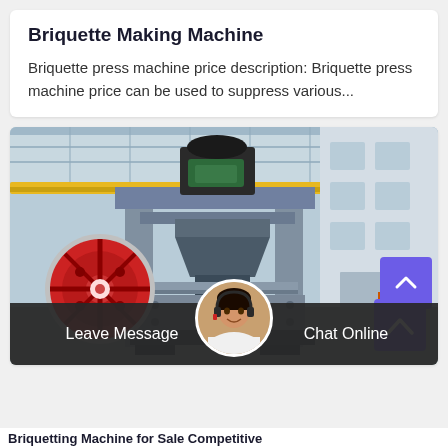Briquette Making Machine
Briquette press machine price description: Briquette press machine price can be used to suppress various...
[Figure (photo): A large industrial briquette making machine with gray frame, black motor on top, green motor housing, red flywheel on the left side, and a funnel/hopper in the center. The machine is photographed inside a factory/warehouse with yellow overhead crane rails and a white multi-story building visible in the background.]
Briquetting Machine for Sale Competitive